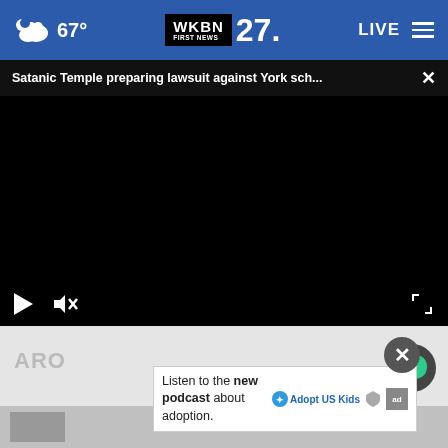67° WKBN FIRST NEWS 27. LIVE
Satanic Temple preparing lawsuit against York sch... ×
[Figure (screenshot): Black video player area with play button, mute button, and fullscreen icon on controls bar at bottom]
Listen to the new podcast about adoption. Adopt US Kids ad
ARO